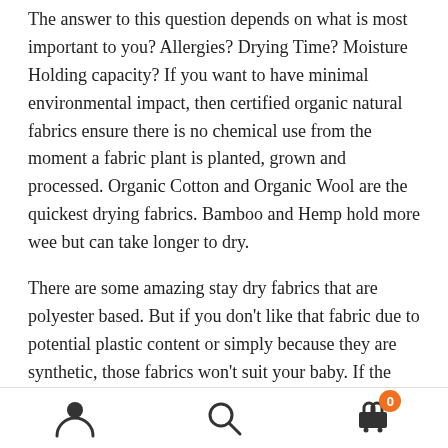The answer to this question depends on what is most important to you? Allergies? Drying Time? Moisture Holding capacity? If you want to have minimal environmental impact, then certified organic natural fabrics ensure there is no chemical use from the moment a fabric plant is planted, grown and processed. Organic Cotton and Organic Wool are the quickest drying fabrics. Bamboo and Hemp hold more wee but can take longer to dry.
There are some amazing stay dry fabrics that are polyester based. But if you don't like that fabric due to potential plastic content or simply because they are synthetic, those fabrics won't suit your baby. If the function of the nappy is to stay dry is more important,
[Figure (infographic): Bottom navigation bar with three icons: a user/person icon on the left, a search magnifying glass icon in the center, and a shopping cart icon on the right with an orange badge showing the number 0.]